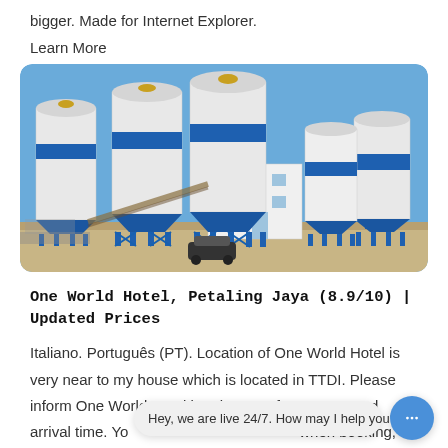bigger. Made for Internet Explorer.
Learn More
[Figure (photo): Industrial concrete batching plant with multiple large blue and white cylindrical silos/tanks on blue steel support structures, with a white multi-story building in the center, a car parked in the foreground, under a clear blue sky.]
One World Hotel, Petaling Jaya (8.9/10) | Updated Prices
Italiano. Português (PT). Location of One World Hotel is very near to my house which is located in TTDI. Please inform One World Hotel in advance of your expected arrival time. Yo when booking, or contact the property directly with
Hey, we are live 24/7. How may I help you?